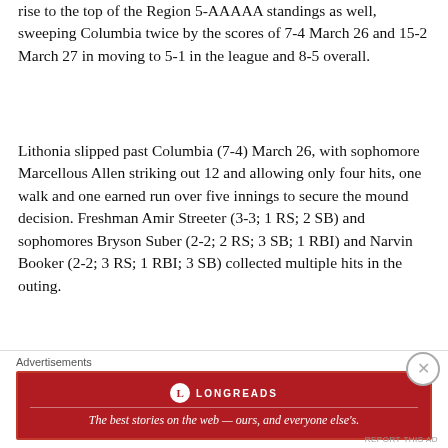rise to the top of the Region 5-AAAAA standings as well, sweeping Columbia twice by the scores of 7-4 March 26 and 15-2 March 27 in moving to 5-1 in the league and 8-5 overall.
Lithonia slipped past Columbia (7-4) March 26, with sophomore Marcellous Allen striking out 12 and allowing only four hits, one walk and one earned run over five innings to secure the mound decision. Freshman Amir Streeter (3-3; 1 RS; 2 SB) and sophomores Bryson Suber (2-2; 2 RS; 3 SB; 1 RBI) and Narvin Booker (2-2; 3 RS; 1 RBI; 3 SB) collected multiple hits in the outing.
Coach Timothy Jones and the Stephenson Jaguars are
[Figure (infographic): Longreads advertisement banner in dark red with logo and tagline: The best stories on the web — ours, and everyone else's.]